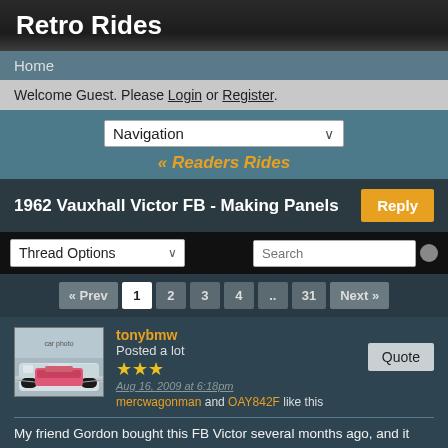Retro Rides
Home
Welcome Guest. Please Login or Register.
Navigation
« Readers Rides
1962 Vauxhall Victor FB - Making Panels
Thread Options
« Prev  1  2  3  4  ..  31  Next »
tonybmw
Posted a lot
★★★
Aug 16, 2009 at 6:18pm
mercwagonman and OAY842F like this
Quote
My friend Gordon bought this FB Victor several months ago, and it has been under wraps ever since, I had some time off work so decided to give him a hand get it kick started. The deal is I will carry out all the welding and some painting and he will strip it and then rebuild it